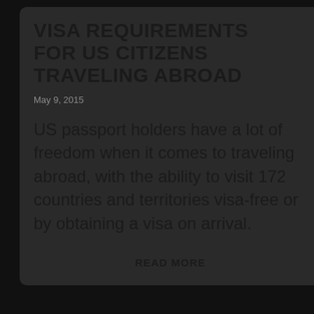VISA REQUIREMENTS FOR US CITIZENS TRAVELING ABROAD
May 9, 2015
US passport holders have a lot of freedom when it comes to traveling abroad, with the ability to visit 172 countries and territories visa-free or by obtaining a visa on arrival.
READ MORE